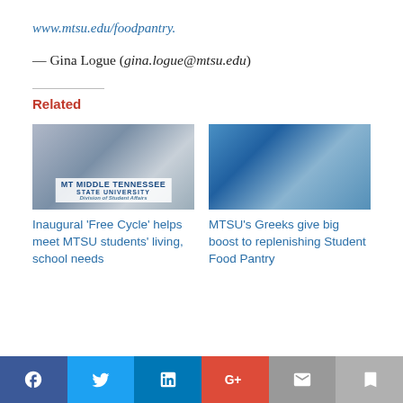www.mtsu.edu/foodpantry.
— Gina Logue (gina.logue@mtsu.edu)
Related
[Figure (photo): MTSU Middle Tennessee State University Division of Student Affairs collage photo]
[Figure (photo): Students at MTSU giving food at Student Food Pantry]
Inaugural 'Free Cycle' helps meet MTSU students' living, school needs
MTSU's Greeks give big boost to replenishing Student Food Pantry
Facebook | Twitter | LinkedIn | Google+ | Email | Bookmark